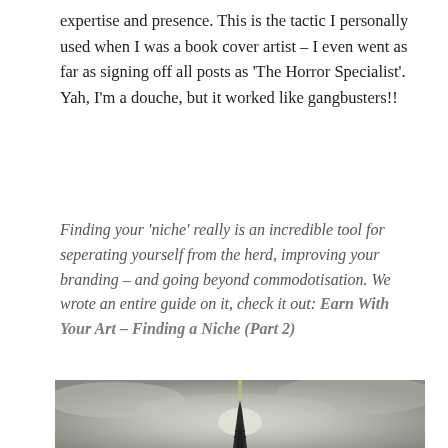expertise and presence. This is the tactic I personally used when I was a book cover artist – I even went as far as signing off all posts as 'The Horror Specialist'. Yah, I'm a douche, but it worked like gangbusters!!
Finding your 'niche' really is an incredible tool for seperating yourself from the herd, improving your branding – and going beyond commodotisation. We wrote an entire guide on it, check it out: Earn With Your Art – Finding a Niche (Part 2)
[Figure (photo): Dark gothic cathedral spire silhouetted against a dramatic grey overcast sky with a narrow green light beam shooting upward from the spire]